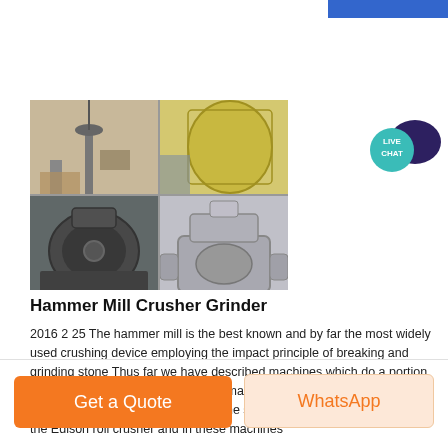[Figure (photo): Four-panel collage of industrial hammer mill crusher grinder equipment photos]
Hammer Mill Crusher Grinder
2016 2 25 The hammer mill is the best known and by far the most widely used crushing device employing the impact principle of breaking and grinding stone Thus far we have described machines which do a portion of their work by impact but the only machine described in which this action plays an important role was the sledging roll type and particularly the Edison roll crusher and in these machines
Get a Quote
WhatsApp